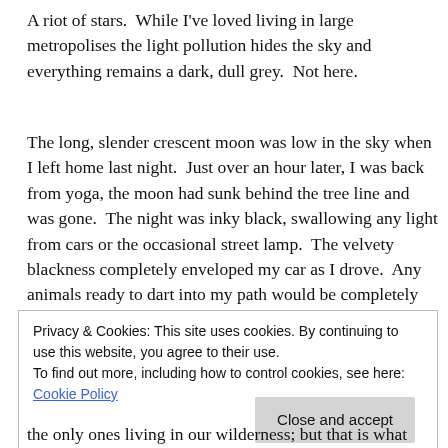A riot of stars.  While I've loved living in large metropolises the light pollution hides the sky and everything remains a dark, dull grey.  Not here.
The long, slender crescent moon was low in the sky when I left home last night.  Just over an hour later, I was back from yoga, the moon had sunk behind the tree line and was gone.  The night was inky black, swallowing any light from cars or the occasional street lamp.  The velvety blackness completely enveloped my car as I drove.  Any animals ready to dart into my path would be completely invisible until the last second.  Their eyes lighting up like torches in the oncoming lights.
Privacy & Cookies: This site uses cookies. By continuing to use this website, you agree to their use.
To find out more, including how to control cookies, see here: Cookie Policy
Close and accept
the only ones living in our wilderness; but that is what makes